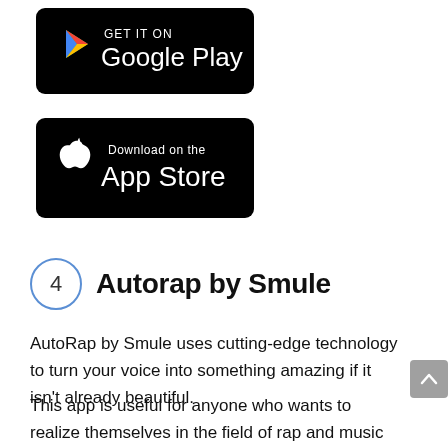[Figure (logo): Google Play store badge — black rounded rectangle with 'GET IT ON Google Play' text and Play triangle logo]
[Figure (logo): Apple App Store badge — black rounded rectangle with Apple logo and 'Download on the App Store' text]
4  Autorap by Smule
AutoRap by Smule uses cutting-edge technology to turn your voice into something amazing if it isn't already beautiful.
This app is useful for anyone who wants to realize themselves in the field of rap and music battles. It allows you to rap in 2 different modes, depending